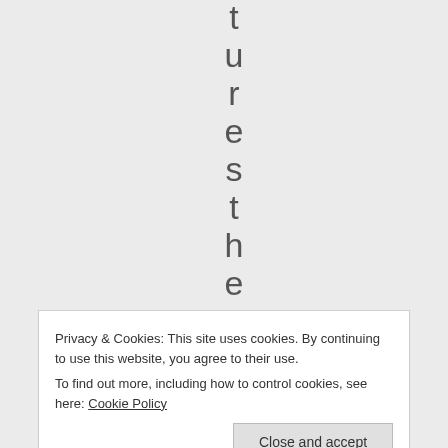t u r e s t h e m e n
Privacy & Cookies: This site uses cookies. By continuing to use this website, you agree to their use.
To find out more, including how to control cookies, see here: Cookie Policy
Close and accept
y